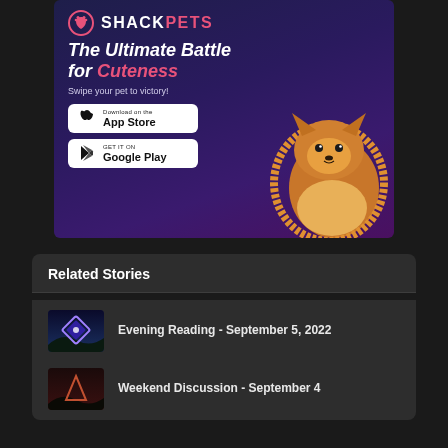[Figure (illustration): ShackPets app advertisement banner with dark purple/navy gradient background. Shows ShackPets logo (paw print in circle) and brand name, headline 'The Ultimate Battle for Cuteness', subtext 'Swipe your pet to victory!', App Store and Google Play download buttons, and a Pomeranian dog photo on the right side.]
Related Stories
Evening Reading - September 5, 2022
Weekend Discussion - September 4